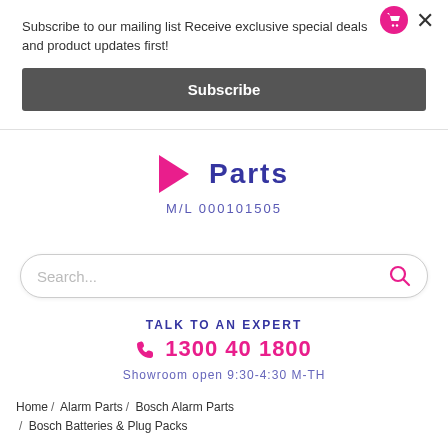Subscribe to our mailing list Receive exclusive special deals and product updates first!
Subscribe
[Figure (logo): Alarm Parts logo with pink chevron shape and blue stylized text reading 'Parts', with M/L 000101505 below]
M/L 000101505
Search...
TALK TO AN EXPERT
1300 40 1800
Showroom open 9:30-4:30 M-TH
Home / Alarm Parts / Bosch Alarm Parts / Bosch Batteries & Plug Packs